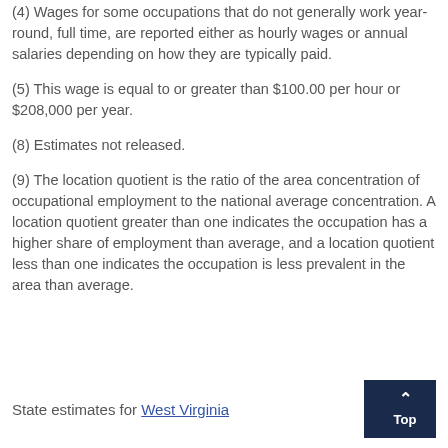(4) Wages for some occupations that do not generally work year-round, full time, are reported either as hourly wages or annual salaries depending on how they are typically paid.
(5) This wage is equal to or greater than $100.00 per hour or $208,000 per year.
(8) Estimates not released.
(9) The location quotient is the ratio of the area concentration of occupational employment to the national average concentration. A location quotient greater than one indicates the occupation has a higher share of employment than average, and a location quotient less than one indicates the occupation is less prevalent in the area than average.
State estimates for West Virginia